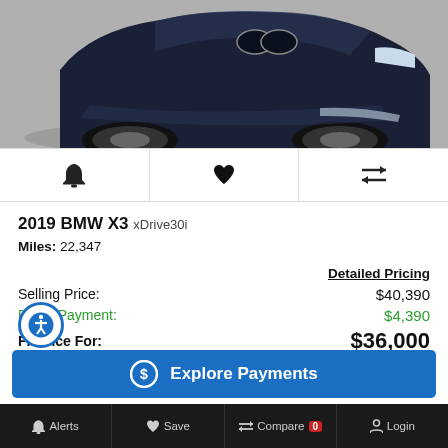[Figure (photo): Front view of a dark blue 2019 BMW X3 SUV on a gray studio turntable backdrop]
[Figure (infographic): Icon bar with three icons: bell (alerts), heart (save), compare arrows]
2019 BMW X3 xDrive30i
Miles: 22,347
Detailed Pricing
Selling Price: $40,390
Down Payment: $4,390
Finance For: $36,000
Explore Payments
Alerts  Save  Compare 0  Login